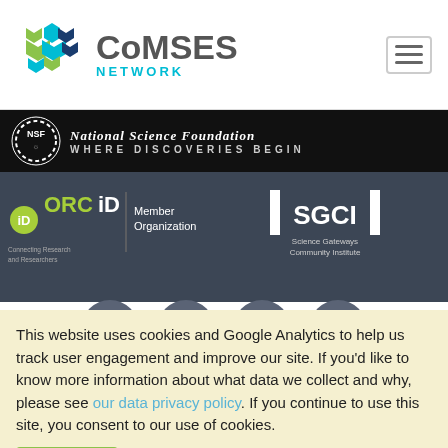[Figure (logo): CoMSES Network logo with hexagonal icon and text]
[Figure (logo): NSF National Science Foundation WHERE DISCOVERIES BEGIN banner]
[Figure (logo): ORCID Member Organization logo - Connecting Research and Researchers]
[Figure (logo): SGCI Science Gateways Community Institute logo]
[Figure (infographic): Social media icons: Twitter, Email, YouTube, RSS feed - circular grey buttons]
This website uses cookies and Google Analytics to help us track user engagement and improve our site. If you'd like to know more information about what data we collect and why, please see our data privacy policy. If you continue to use this site, you consent to our use of cookies.
Accept